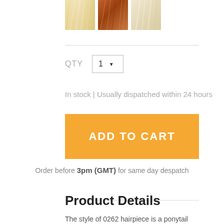[Figure (photo): Three hair color swatches showing blonde, auburn/red, and light blonde hair textures]
QTY  1 ▼
In stock | Usually dispatched within 24 hours
ADD TO CART
Order before 3pm (GMT) for same day despatch
Product Details
The style of 0262 hairpiece is a ponytail